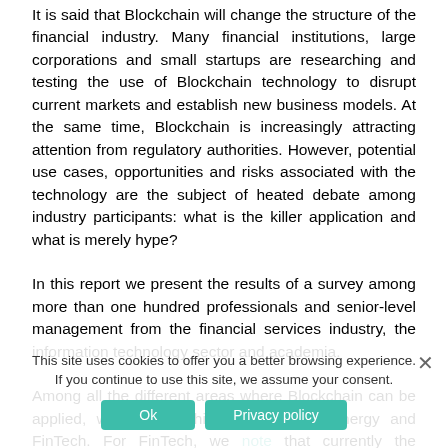It is said that Blockchain will change the structure of the financial industry. Many financial institutions, large corporations and small startups are researching and testing the use of Blockchain technology to disrupt current markets and establish new business models. At the same time, Blockchain is increasingly attracting attention from regulatory authorities. However, potential use cases, opportunities and risks associated with the technology are the subject of heated debate among industry participants: what is the killer application and what is merely hype?
In this report we present the results of a survey among more than one hundred professionals and senior-level management from the financial services industry, the information technology sector and academia.
Among all the different areas where Blockchain can be applied, we find the highest impact in energy and FinTech. For FinTech, we note that currently the identification of use cases is in highest demand. This clearly indicates that many companies are still in the early stages of their